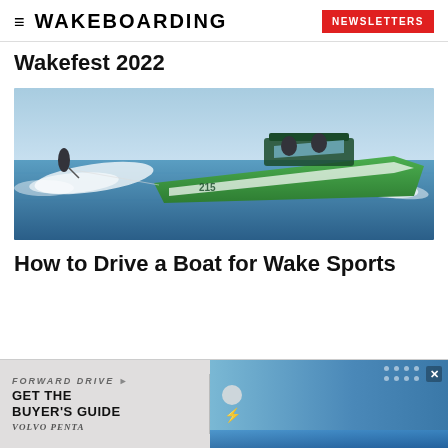WAKEBOARDING | NEWSLETTERS
Wakefest 2022
[Figure (photo): A green and white speedboat pulling a water skier on a lake, aerial view, with white wake spray behind the boat]
How to Drive a Boat for Wake Sports
[Figure (photo): Advertisement banner: FORWARD DRIVE - GET THE BUYER'S GUIDE - VOLVO PENTA, with a photo of a wakeboarder on the right side]